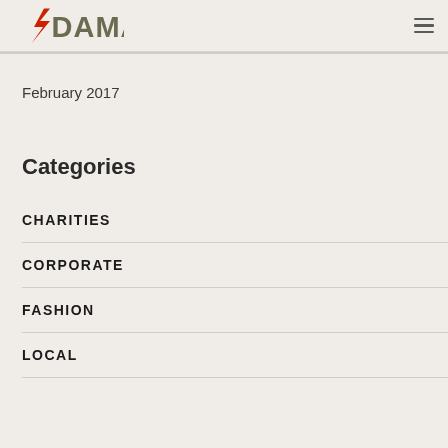DAMART
February 2017
Categories
CHARITIES
CORPORATE
FASHION
LOCAL